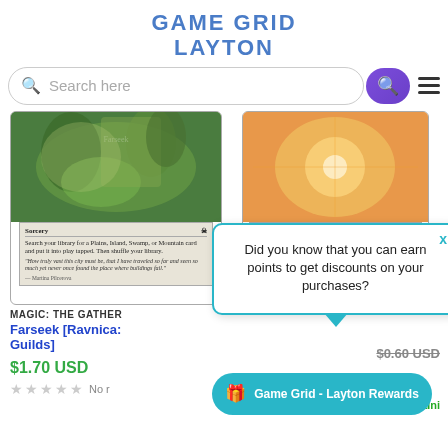GAME GRID
LAYTON
[Figure (screenshot): Search bar with placeholder 'Search here' and purple search button, with hamburger menu icon]
[Figure (photo): Magic: The Gathering card Farseek showing Sorcery card with library search text and flavor text]
MAGIC: THE GATHER
Farseek [Ravnica: Guilds]
$1.70 USD
No reviews
[Figure (photo): Magic: The Gathering Artifact card partial view with orange/fire artwork]
In stock, 38 uni
Did you know that you can earn points to get discounts on your purchases?
Game Grid - Layton Rewards